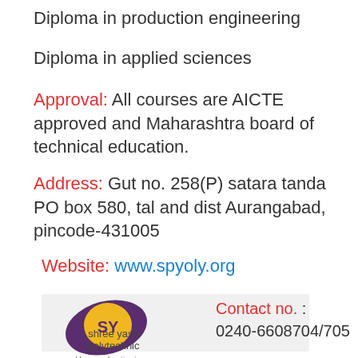Diploma in production engineering
Diploma in applied sciences
Approval: All courses are AICTE approved and Maharashtra board of technical education.
Address: Gut no. 258(P) satara tanda PO box 580, tal and dist Aurangabad, pincode-431005
Website: www.spyoly.org
[Figure (logo): SY logo - shree yash polytechnic logo with blog.oureducation.in]
Contact no. : 0240-6608704/705